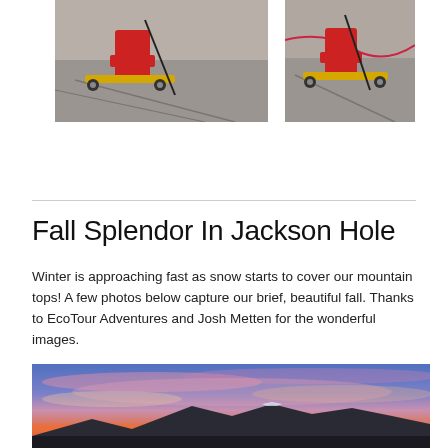[Figure (photo): Close-up photo of ski roller blades on asphalt, showing the skier's red boots and yellow ski equipment with poles on pavement]
[Figure (photo): Second close-up photo of ski roller blades on asphalt with a pink/red rope or strap visible, similar to the left image]
Fall Splendor In Jackson Hole
Winter is approaching fast as snow starts to cover our mountain tops! A few photos below capture our brief, beautiful fall. Thanks to EcoTour Adventures and Josh Metten for the wonderful images.
[Figure (photo): Dramatic sunset landscape photo of Jackson Hole with vivid pink, orange, and purple clouds over silhouetted mountains and tree line]